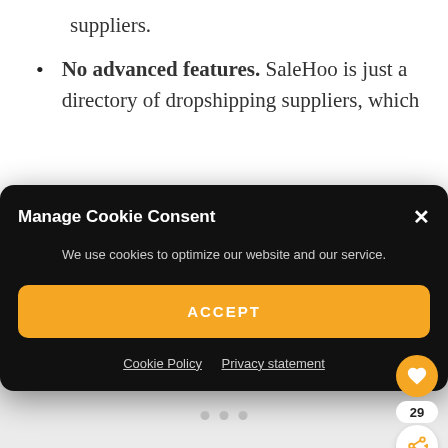suppliers.
No advanced features. SaleHoo is just a directory of dropshipping suppliers, which
[Figure (screenshot): Cookie consent modal dialog with black background, title 'Manage Cookie Consent', body text 'We use cookies to optimize our website and our service.', an orange ACCEPT button, and links for Cookie Policy and Privacy statement]
[Figure (infographic): Floating action buttons: orange heart/like button, count '29', and white share button; three gray pagination dots]